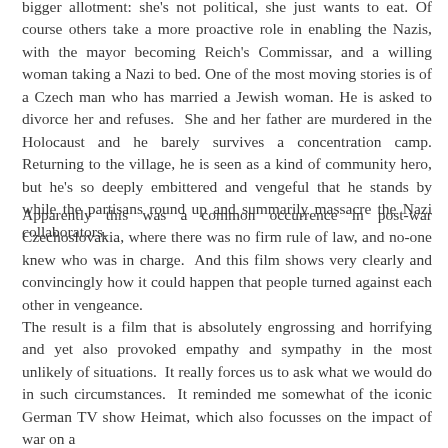bigger allotment: she's not political, she just wants to eat. Of course others take a more proactive role in enabling the Nazis, with the mayor becoming Reich's Commissar, and a willing woman taking a Nazi to bed. One of the most moving stories is of a Czech man who has married a Jewish woman. He is asked to divorce her and refuses. She and her father are murdered in the Holocaust and he barely survives a concentration camp. Returning to the village, he is seen as a kind of community hero, but he's so deeply embittered and vengeful that he stands by while the partisans round up and summarily massacre the Nazi collaborators.
Apparently this was a common occurrence in post-war Czechoslovakia, where there was no firm rule of law, and no-one knew who was in charge. And this film shows very clearly and convincingly how it could happen that people turned against each other in vengeance.
The result is a film that is absolutely engrossing and horrifying and yet also provoked empathy and sympathy in the most unlikely of situations. It really forces us to ask what we would do in such circumstances. It reminded me somewhat of the iconic German TV show Heimat, which also focusses on the impact of war on a